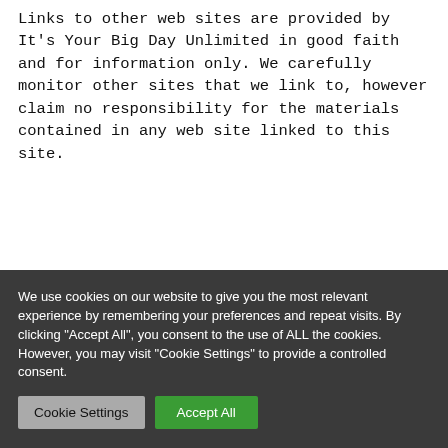Links to other web sites are provided by It's Your Big Day Unlimited in good faith and for information only. We carefully monitor other sites that we link to, however claim no responsibility for the materials contained in any web site linked to this site.
We use cookies on our website to give you the most relevant experience by remembering your preferences and repeat visits. By clicking "Accept All", you consent to the use of ALL the cookies. However, you may visit "Cookie Settings" to provide a controlled consent.